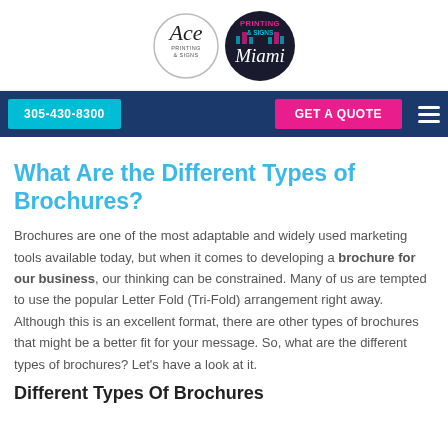[Figure (logo): Ace Printing & Signs logo (circular, black and white) next to Printing & Signs Miami logo (circular, dark background with pink and cyan text)]
305-430-8300  GET A QUOTE
What Are the Different Types of Brochures?
Brochures are one of the most adaptable and widely used marketing tools available today, but when it comes to developing a brochure for our business, our thinking can be constrained. Many of us are tempted to use the popular Letter Fold (Tri-Fold) arrangement right away. Although this is an excellent format, there are other types of brochures that might be a better fit for your message. So, what are the different types of brochures? Let's have a look at it.
Different Types Of Brochures